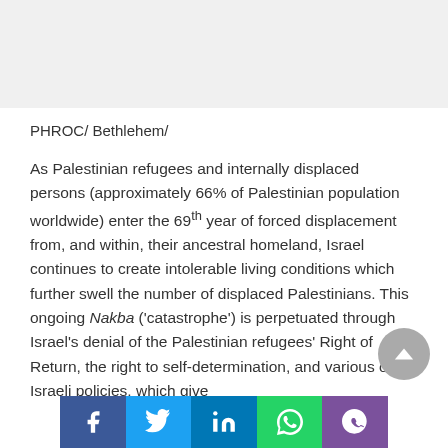PHROC/ Bethlehem/
As Palestinian refugees and internally displaced persons (approximately 66% of Palestinian population worldwide) enter the 69th year of forced displacement from, and within, their ancestral homeland, Israel continues to create intolerable living conditions which further swell the number of displaced Palestinians. This ongoing Nakba ('catastrophe') is perpetuated through Israel's denial of the Palestinian refugees' Right of Return, the right to self-determination, and various other Israeli policies, which give